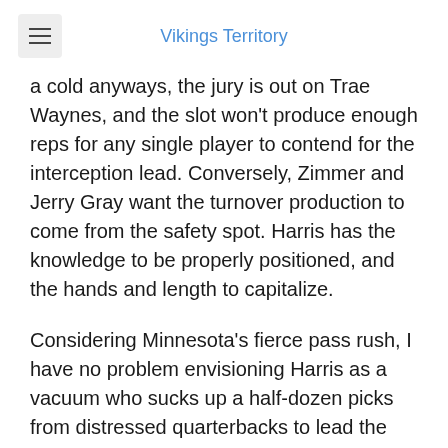Vikings Territory
a cold anyways, the jury is out on Trae Waynes, and the slot won't produce enough reps for any single player to contend for the interception lead. Conversely, Zimmer and Jerry Gray want the turnover production to come from the safety spot. Harris has the knowledge to be properly positioned, and the hands and length to capitalize.
Considering Minnesota's fierce pass rush, I have no problem envisioning Harris as a vacuum who sucks up a half-dozen picks from distressed quarterbacks to lead the team.